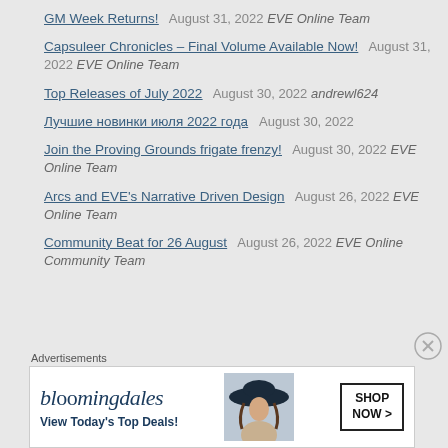GM Week Returns! August 31, 2022 EVE Online Team
Capsuleer Chronicles – Final Volume Available Now! August 31, 2022 EVE Online Team
Top Releases of July 2022 August 30, 2022 andrewl624
Лучшие новинки июля 2022 года August 30, 2022
Join the Proving Grounds frigate frenzy! August 30, 2022 EVE Online Team
Arcs and EVE's Narrative Driven Design August 26, 2022 EVE Online Team
Community Beat for 26 August August 26, 2022 EVE Online Community Team
[Figure (other): Bloomingdale's advertisement banner: 'View Today's Top Deals!' with SHOP NOW button and woman in hat image]